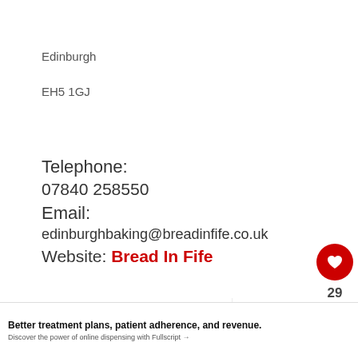Edinburgh
EH5 1GJ
Telephone:
07840 258550
Email:
edinburghbaking@breadinfife.co.uk
Website: Bread In Fife
[Figure (screenshot): UI sidebar with heart/like button (red circle with heart icon), count '29', share button, and diamond/bookmark icons]
[Figure (illustration): Curved black arrow pointing downward to the right]
[Figure (screenshot): What's Next panel with 'Pumpkin Spice...' text and thumbnail image, plus Fullscript logo and TW logo]
Better treatment plans, patient adherence, and revenue.
Discover the power of online dispensing with Fullscript →